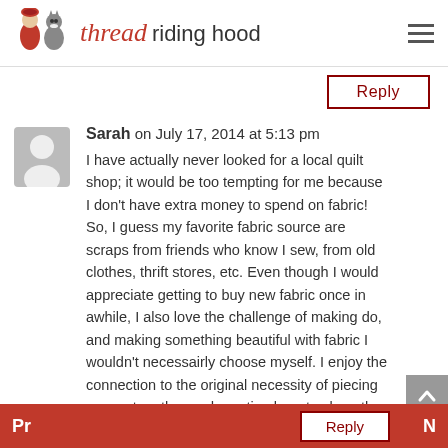thread riding hood
Reply
Sarah on July 17, 2014 at 5:13 pm
I have actually never looked for a local quilt shop; it would be too tempting for me because I don't have extra money to spend on fabric! So, I guess my favorite fabric source are scraps from friends who know I sew, from old clothes, thrift stores, etc. Even though I would appreciate getting to buy new fabric once in awhile, I also love the challenge of making do, and making something beautiful with fabric I wouldn't necessairly choose myself. I enjoy the connection to the original necessity of piecing scraps together and creating beauty along the way — which you've certainly done with the bags up above! Thanks!
Reply
Pr  N